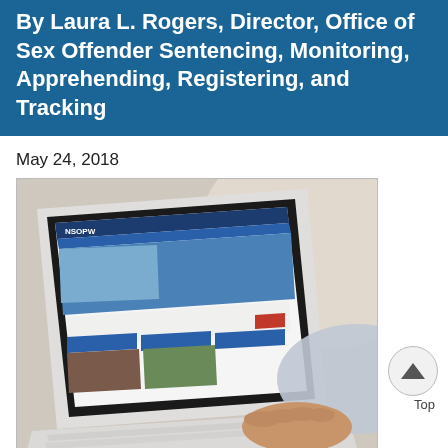By Laura L. Rogers, Director, Office of Sex Offender Sentencing, Monitoring, Apprehending, Registering, and Tracking
May 24, 2018
[Figure (photo): Person using a white laptop showing the NSOPW (National Sex Offender Public Website) homepage on the screen]
There are many things to think about when planning a move to a new area and a new home: are the schools good, what will the taxes be, what will the commute